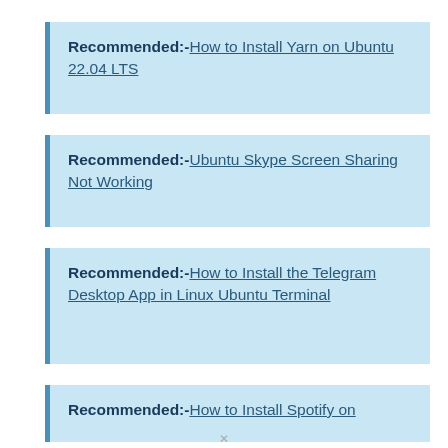Recommended:-How to Install Yarn on Ubuntu 22.04 LTS
Recommended:-Ubuntu Skype Screen Sharing Not Working
Recommended:-How to Install the Telegram Desktop App in Linux Ubuntu Terminal
Recommended:-How to Install Spotify on